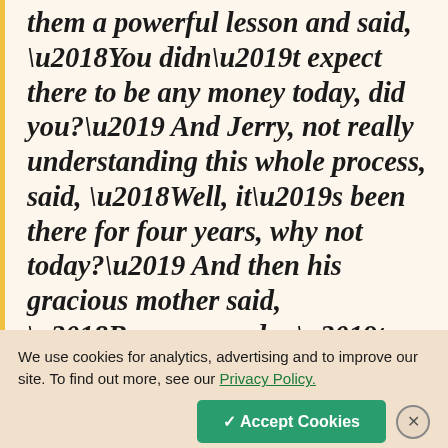them a powerful lesson and said, ‘You didn’t expect there to be any money today, did you?’ And Jerry, not really understanding this whole process, said, ‘Well, it’s been there for four years, why not today?’ And then his gracious mother said, ‘Because we don’t need it anymore. And
We use cookies for analytics, advertising and to improve our site. To find out more, see our Privacy Policy.